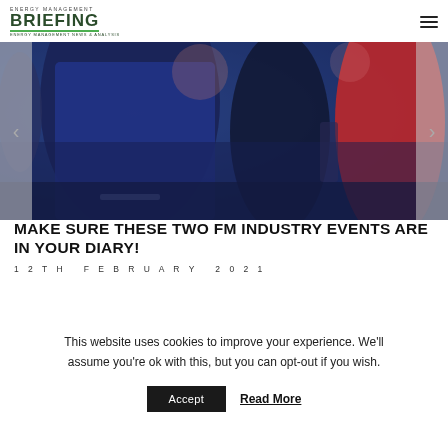ENERGY MANAGEMENT BRIEFING — Energy Management News & Analysis
[Figure (photo): Crowd of people at an industry event, blue and red clothing, blurred background]
MAKE SURE THESE TWO FM INDUSTRY EVENTS ARE IN YOUR DIARY!
12TH FEBRUARY 2021
[Figure (photo): Partial second article image strip, blue tones]
This website uses cookies to improve your experience. We'll assume you're ok with this, but you can opt-out if you wish.
Accept  Read More